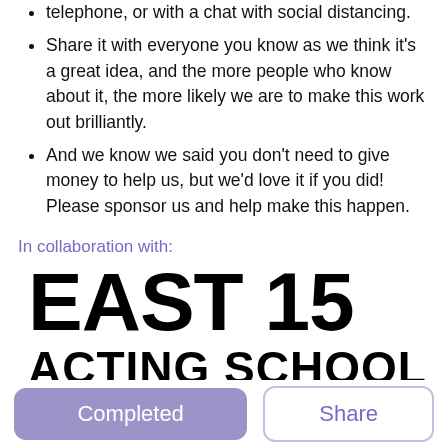telephone, or with a chat with social distancing.
Share it with everyone you know as we think it's a great idea, and the more people who know about it, the more likely we are to make this work out brilliantly.
And we know we said you don't need to give money to help us, but we'd love it if you did! Please sponsor us and help make this happen.
In collaboration with:
[Figure (logo): East 15 Acting School logo — large bold black text reading EAST 15 on first line and ACTING SCHOOL on second line]
Completed
Share